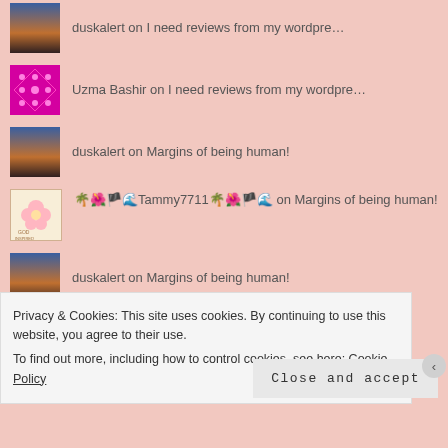duskalert on I need reviews from my wordpre…
Uzma Bashir on I need reviews from my wordpre…
duskalert on Margins of being human!
🌴🌺🏴🌊Tammy7711🌴🌺🏴🌊 on Margins of being human!
duskalert on Margins of being human!
🌴🌺🏴🌊Tammy7711🌴🌺🏴🌊 on Margins of being…
Privacy & Cookies: This site uses cookies. By continuing to use this website, you agree to their use.
To find out more, including how to control cookies, see here: Cookie Policy
Close and accept